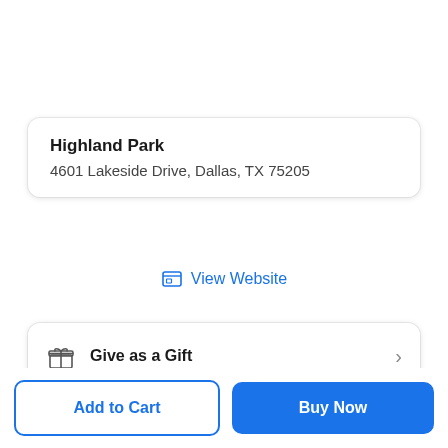Highland Park
4601 Lakeside Drive, Dallas, TX 75205
View Website
Give as a Gift
Add to Cart
Buy Now